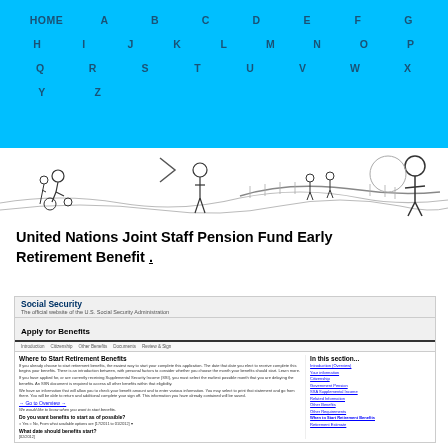HOME A B C D E F G H I J K L M N O P Q R S T U V W X Y Z
[Figure (illustration): Line drawing illustration of people including someone in a wheelchair, a person standing, people walking across a bridge, and a large figure on the right — representing retirement/pension themes]
United Nations Joint Staff Pension Fund Early Retirement Benefit .
[Figure (screenshot): Screenshot of the Social Security Administration website showing the 'Apply for Benefits' page with section 'Where to Start Retirement Benefits' containing informational text, links, and a sidebar with related links including 'When to Start Retirement Benefits']